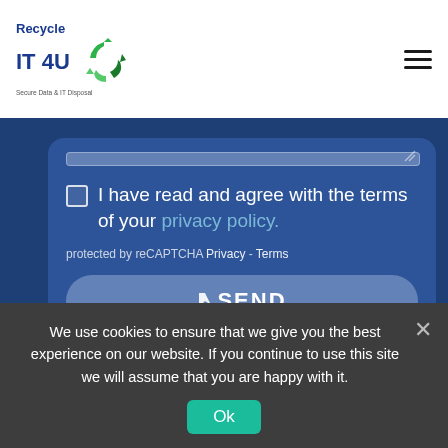[Figure (logo): Recycle IT 4U logo with green recycling arrows icon and tagline 'Secure Data & IT Disposal']
I have read and agree with the terms of your privacy policy.
protected by reCAPTCHA Privacy - Terms
SEND
Contact
Unit 1 Cedar Court
Halesfield 17
We use cookies to ensure that we give you the best experience on our website. If you continue to use this site we will assume that you are happy with it.
Ok